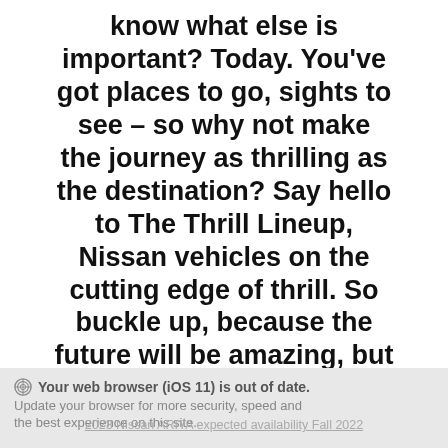know what else is important? Today. You've got places to go, sights to see – so why not make the journey as thrilling as the destination? Say hello to The Thrill Lineup, Nissan vehicles on the cutting edge of thrill. So buckle up, because the future will be amazing, but right now is just as incredible. [*]
⊙ Your web browser (iOS 11) is out of date. Update your browser for more security, speed and the best experience on this site.
2023 Nissan ARIYA expected availability Fall 2022